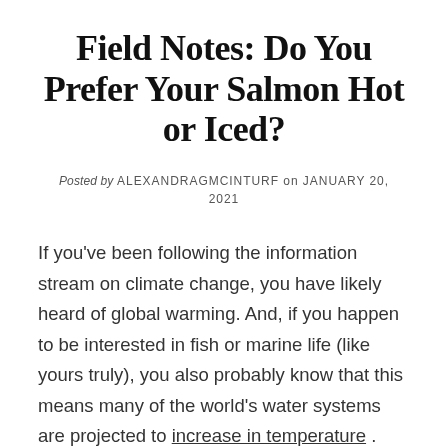Field Notes: Do You Prefer Your Salmon Hot or Iced?
Posted by ALEXANDRAGMCINTURF on JANUARY 20, 2021
If you've been following the information stream on climate change, you have likely heard of global warming. And, if you happen to be interested in fish or marine life (like yours truly), you also probably know that this means many of the world's water systems are projected to increase in temperature . Even at face value, this seems like a doom-and-gloom story, but as